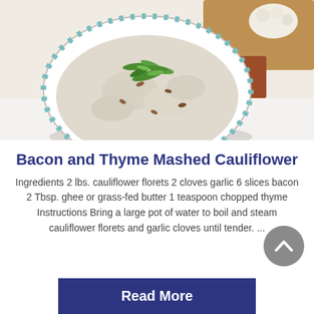[Figure (photo): A bowl of mashed cauliflower topped with sliced green onions and bacon bits, with cauliflower florets visible in the background on a wooden cutting board]
Bacon and Thyme Mashed Cauliflower
Ingredients 2 lbs. cauliflower florets 2 cloves garlic 6 slices bacon 2 Tbsp. ghee or grass-fed butter 1 teaspoon chopped thyme Instructions Bring a large pot of water to boil and steam cauliflower florets and garlic cloves until tender. ...
Read More